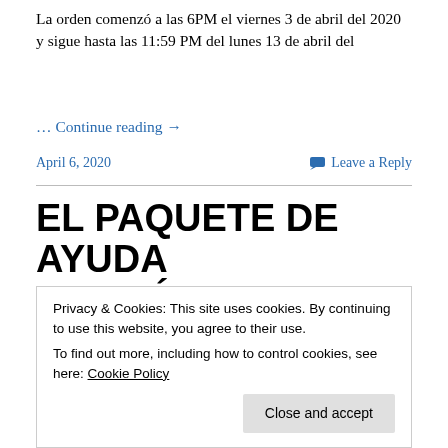La orden comenzó a las 6PM el viernes 3 de abril del 2020 y sigue hasta las 11:59 PM del lunes 13 de abril del
… Continue reading →
April 6, 2020    Leave a Reply
EL PAQUETE DE AYUDA ECONÓMICA: UNOS SE BENEFICIAN OTROS QUEDAN EXCLUIDOS
Privacy & Cookies: This site uses cookies. By continuing to use this website, you agree to their use.
To find out more, including how to control cookies, see here: Cookie Policy
Close and accept